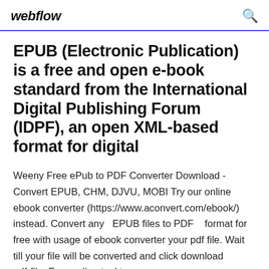webflow
EPUB (Electronic Publication) is a free and open e-book standard from the International Digital Publishing Forum (IDPF), an open XML-based format for digital
Weeny Free ePub to PDF Converter Download - Convert EPUB, CHM, DJVU, MOBI Try our online ebook converter (https://www.aconvert.com/ebook/) instead. Convert any  EPUB files to PDF   format for free with usage of ebook converter your pdf file. Wait till your file will be converted and click download pdf-file. Free online tool to